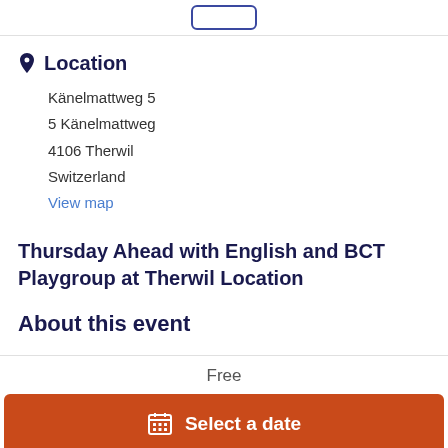Location
Känelmattweg 5
5 Känelmattweg
4106 Therwil
Switzerland
View map
Thursday Ahead with English and BCT Playgroup at Therwil Location
About this event
Free
Select a date